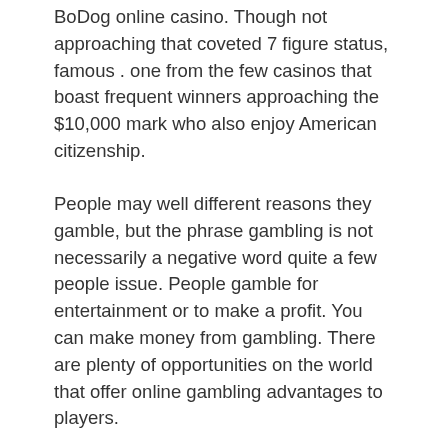BoDog online casino. Though not approaching that coveted 7 figure status, famous . one from the few casinos that boast frequent winners approaching the $10,000 mark who also enjoy American citizenship.
People may well different reasons they gamble, but the phrase gambling is not necessarily a negative word quite a few people issue. People gamble for entertainment or to make a profit. You can make money from gambling. There are plenty of opportunities on the world that offer online gambling advantages to players.
There is really a Preferred Deposit Bonus open mega888 apk to the player online. This casino bonus is preferred form of payment in the neighborhood . electronic and meant to deposit take advantage your gambling account. Various casinos prefer receiving their sum money in one or other form. Whole put forward 5%-15% in your account on auto-pilot. But you need to understand in case a casino announces that barefoot running